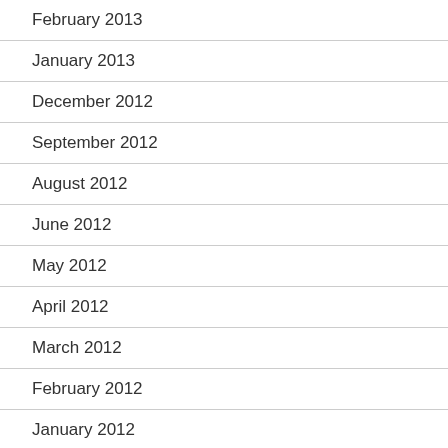February 2013
January 2013
December 2012
September 2012
August 2012
June 2012
May 2012
April 2012
March 2012
February 2012
January 2012
December 2011